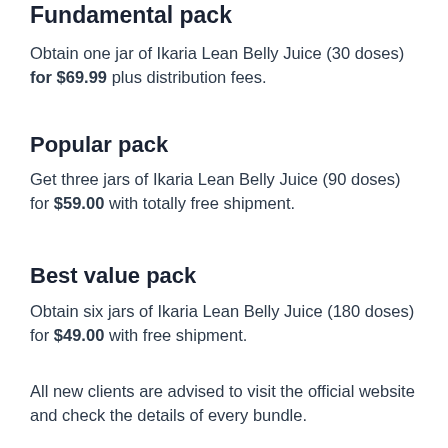Fundamental pack
Obtain one jar of Ikaria Lean Belly Juice (30 doses) for $69.99 plus distribution fees.
Popular pack
Get three jars of Ikaria Lean Belly Juice (90 doses) for $59.00 with totally free shipment.
Best value pack
Obtain six jars of Ikaria Lean Belly Juice (180 doses) for $49.00 with free shipment.
All new clients are advised to visit the official website and check the details of every bundle.